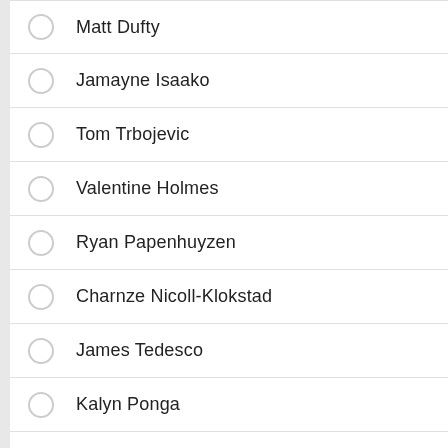Matt Dufty
Jamayne Isaako
Tom Trbojevic
Valentine Holmes
Ryan Papenhuyzen
Charnze Nicoll-Klokstad
James Tedesco
Kalyn Ponga